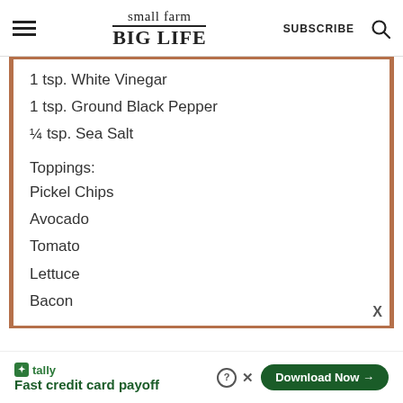small farm BIG LIFE | SUBSCRIBE
1 tsp. White Vinegar
1 tsp. Ground Black Pepper
¼ tsp. Sea Salt
Toppings:
Pickel Chips
Avocado
Tomato
Lettuce
Bacon
Tally — Fast credit card payoff | Download Now